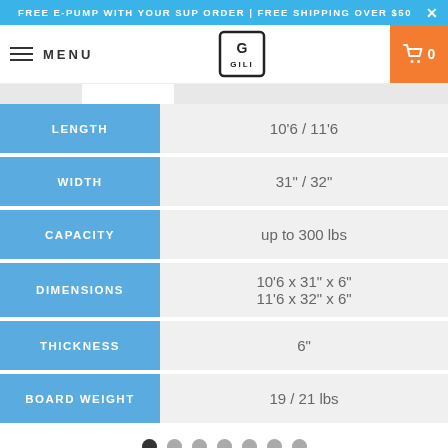FREE E-PUMP WITH YOUR SUP ORDER | FREE SHIPPING OVER $50
|  |  |
| --- | --- |
| LENGTH | 10'6 / 11'6 |
| WIDTH | 31" / 32" |
| CAPACITY | up to 300 lbs |
| DIMENSIONS | 10'6 x 31" x 6"
11'6 x 32" x 6" |
| THICKNESS | 6" |
| BOARD WEIGHT | 19 / 21 lbs |